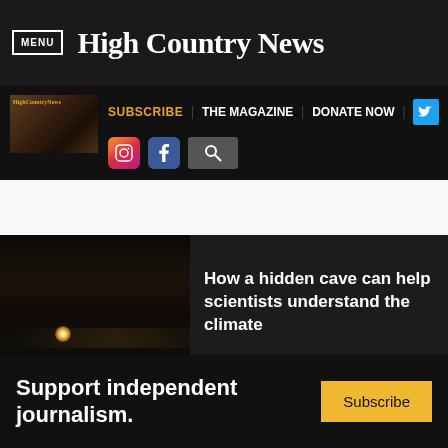MENU | High Country News
SUBSCRIBE | THE MAGAZINE | DONATE NOW
[Figure (screenshot): High Country News thumbnail logo image]
[Figure (photo): Partial photo of person in red jacket on rocky terrain]
[Figure (photo): Dark cave interior with headlamp light in distance]
How a hidden cave can help scientists understand the climate
You have read 1 of 4 free articles this month. Already a subscriber? Log in.
Support independent journalism. Subscribe